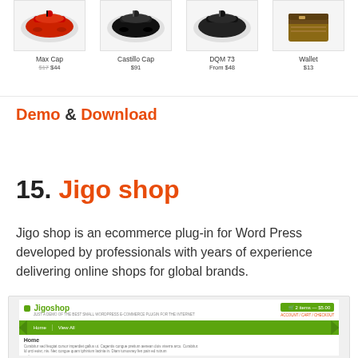[Figure (screenshot): E-commerce product grid showing four items: Max Cap, Castillo Cap, DQM 73, and Wallet with prices]
Max Cap
$17 $44
Castillo Cap
$91
DQM 73
From $48
Wallet
$13
Demo & Download
15. Jigo shop
Jigo shop is an ecommerce plug-in for Word Press developed by professionals with years of experience delivering online shops for global brands.
[Figure (screenshot): Screenshot of Jigoshop WordPress e-commerce plugin homepage showing logo, navigation bar, cart button, and Home page content]